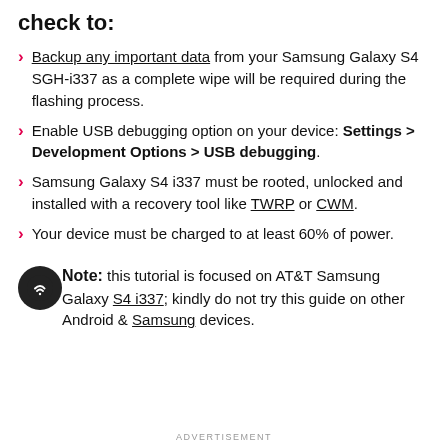check to:
Backup any important data from your Samsung Galaxy S4 SGH-i337 as a complete wipe will be required during the flashing process.
Enable USB debugging option on your device: Settings > Development Options > USB debugging.
Samsung Galaxy S4 i337 must be rooted, unlocked and installed with a recovery tool like TWRP or CWM.
Your device must be charged to at least 60% of power.
Note: this tutorial is focused on AT&T Samsung Galaxy S4 i337; kindly do not try this guide on other Android & Samsung devices.
ADVERTISEMENT